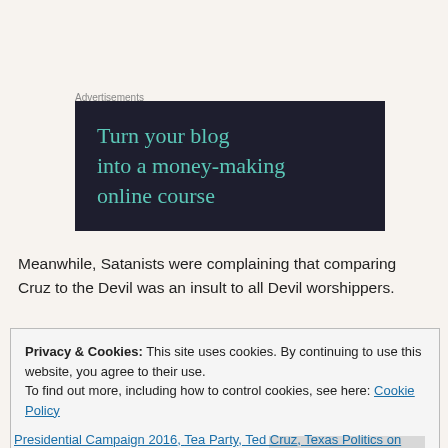Advertisements
[Figure (illustration): Dark navy advertisement banner with teal serif text reading 'Turn your blog into a money-making online course']
Meanwhile, Satanists were complaining that comparing Cruz to the Devil was an insult to all Devil worshippers.
Privacy & Cookies: This site uses cookies. By continuing to use this website, you agree to their use.
To find out more, including how to control cookies, see here: Cookie Policy
Close and accept
Presidential Campaign 2016, Tea Party, Ted Cruz, Texas Politics on